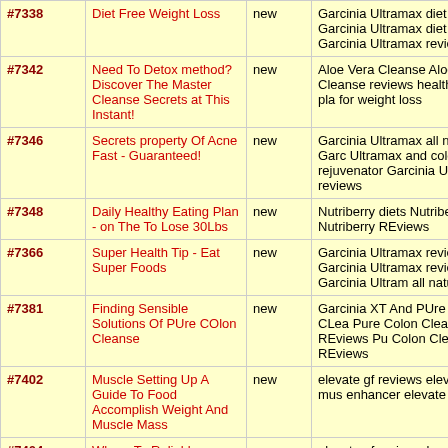| ID | Title | Status | Keywords |
| --- | --- | --- | --- |
| #7338 | Diet Free Weight Loss | new | Garcinia Ultramax diet Garcinia Ultramax diet Garcinia Ultramax reviews |
| #7342 | Need To Detox method? Discover The Master Cleanse Secrets at This Instant! | new | Aloe Vera Cleanse Aloe Vera Cleanse reviews healthy meal pla for weight loss |
| #7346 | Secrets property Of Acne Fast - Guaranteed! | new | Garcinia Ultramax all natural Garc Ultramax and colon rejuvenator Garcinia Ultramax reviews |
| #7348 | Daily Healthy Eating Plan - on The To Lose 30Lbs | new | Nutriberry diets Nutriberry Diet Nutriberry REviews |
| #7366 | Super Health Tip - Eat Super Foods | new | Garcinia Ultramax review Garcinia Ultramax reviews Garcinia Ultram all natural |
| #7381 | Finding Sensible Solutions Of PUre COlon Cleanse | new | Garcinia XT And PUre Colo CLea Pure Colon Cleanse REviews Pu Colon Cleanse REviews |
| #7402 | Muscle Setting Up A Guide To Food Accomplish Weight And Muscle Mass | new | elevate gf reviews elevate gf mus enhancer elevate gf |
| #7404 | Where To Reliable Vitamin Supplement Information | new | elevate gf review elevate gf revie elevate gf |